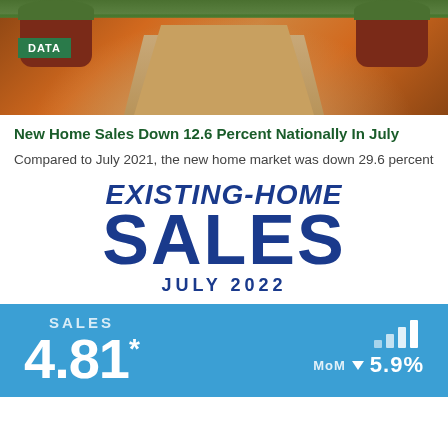[Figure (photo): Outdoor patio with flower pots and paving stones, with green plants in background. DATA tag overlay in green box.]
New Home Sales Down 12.6 Percent Nationally In July
Compared to July 2021, the new home market was down 29.6 percent
[Figure (infographic): Existing-Home Sales July 2022 infographic logo with large blue bold text and a blue stats box showing Sales 4.81* million, MoM down 5.9%]